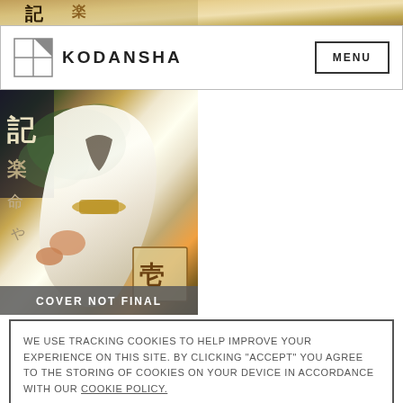[Figure (screenshot): Partial manga book cover at the top, cropped showing golden/white artwork with Japanese characters]
KODANSHA   MENU
[Figure (illustration): Manga book cover showing a figure in white robes with Japanese kanji characters and 'COVER NOT FINAL' overlay]
WE USE TRACKING COOKIES TO HELP IMPROVE YOUR EXPERIENCE ON THIS SITE. BY CLICKING “ACCEPT” YOU AGREE TO THE STORING OF COOKIES ON YOUR DEVICE IN ACCORDANCE WITH OUR COOKIE POLICY.
ACCEPT
MANAGE COOKIES
[Figure (illustration): Partial manga cover at the bottom showing blue/white sky artwork]